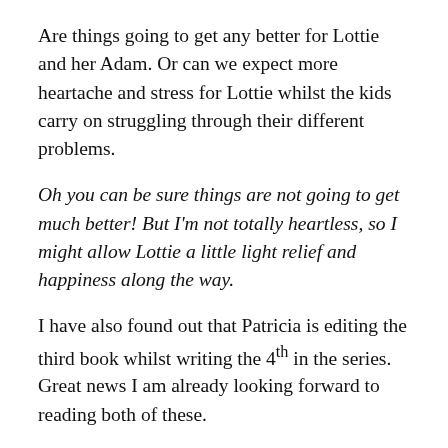Are things going to get any better for Lottie and her Adam. Or can we expect more heartache and stress for Lottie whilst the kids carry on struggling through their different problems.
Oh you can be sure things are not going to get much better! But I'm not totally heartless, so I might allow Lottie a little light relief and happiness along the way.
I have also found out that Patricia is editing the third book whilst writing the 4th in the series. Great news I am already looking forward to reading both of these.